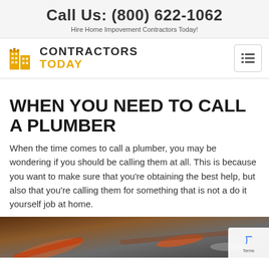Call Us: (800) 622-1062
Hire Home Impovement Contractors Today!
[Figure (logo): Contractors Today logo with building icon]
WHEN YOU NEED TO CALL A PLUMBER
When the time comes to call a plumber, you may be wondering if you should be calling them at all. This is because you want to make sure that you’re obtaining the best help, but also that you’re calling them for something that is not a do it yourself job at home.
[Figure (photo): Close-up photo of plumbing tools on a surface]